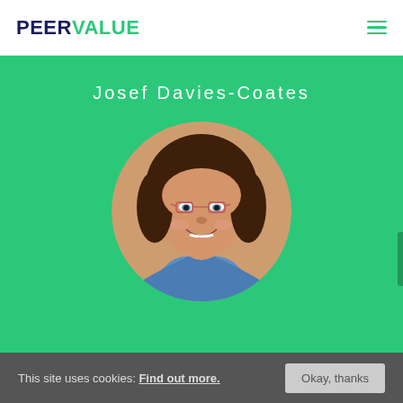PEERVALUE
Josef Davies-Coates
[Figure (photo): Circular profile photo of a smiling woman with dark curly hair, glasses, and a blue top, on a green background]
This site uses cookies: Find out more.  Okay, thanks